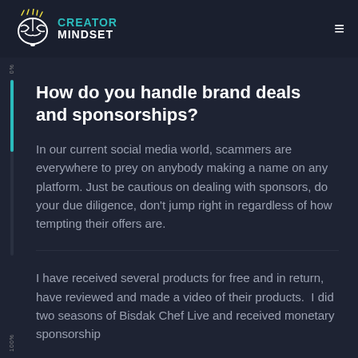Creator Mindset
How do you handle brand deals and sponsorships?
In our current social media world, scammers are everywhere to prey on anybody making a name on any platform. Just be cautious on dealing with sponsors, do your due diligence, don't jump right in regardless of how tempting their offers are.
I have received several products for free and in return, have reviewed and made a video of their products.  I did two seasons of Bisdak Chef Live and received monetary sponsorship